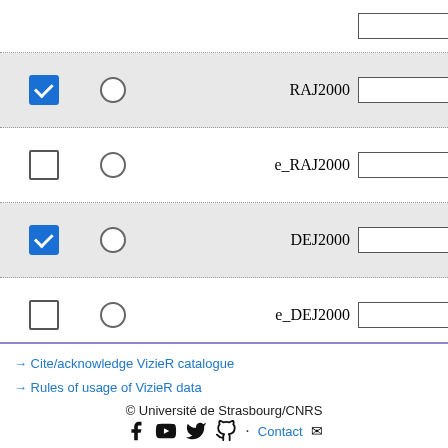[Figure (screenshot): VizieR catalogue query form showing table rows with checkboxes, radio buttons, field labels (RAJ2000, e_RAJ2000, DEJ2000, e_DEJ2000, RADEcorJ2000), text input fields, and footer buttons (Reset All, Clear). Below is an 'Adapt form' section with 'Display your selection only' option and UCD1+ display checkbox.]
Adapt form  Display your selection only
Display  UCD1+  UCD
→ Cite/acknowledge VizieR catalogue
→ Rules of usage of VizieR data
© Université de Strasbourg/CNRS
Contact